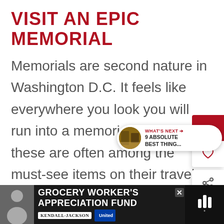VISIT AN EPIC MEMORIAL
Memorials are second nature in Washington D.C. It feels like everywhere you look you will run into a memorial. For visitors, these are often among the must-see items on their travel itinerary. If you want to see a lot of them in a short time, consider a trip on a Hop On, Hop Off bus tour.
[Figure (screenshot): Mobile UI overlay with bookmark (dark red), heart, and share buttons on the right side; a 'What's Next' promo pill showing '9 ABSOLUTE BEST THING...' with a thumbnail image]
[Figure (screenshot): Advertisement banner: Grocery Worker's Appreciation Fund with Kendall-Jackson and United Way logos, person photo on left, podcast icon on right]